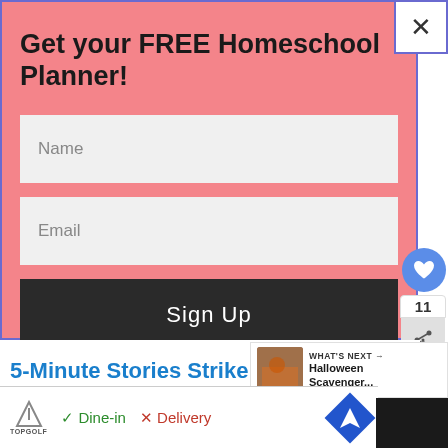Get your FREE Homeschool Planner!
Name
Email
Sign Up
WHAT'S NEXT → Halloween Scavenger...
5-Minute Stories Strike Back –
✓ Dine-in  ✗ Delivery